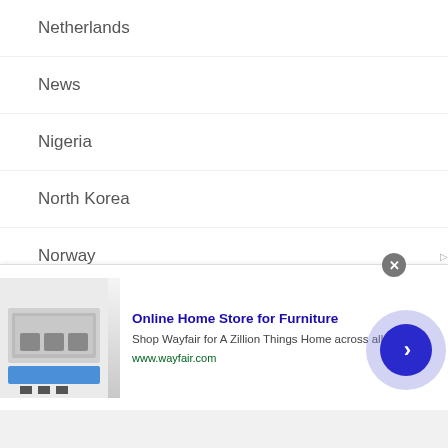Netherlands
News
Nigeria
North Korea
Norway
Pakistan
Palestinia
Panama
Peru
Philippines
[Figure (screenshot): Advertisement banner for Wayfair Online Home Store for Furniture with product image and arrow button]